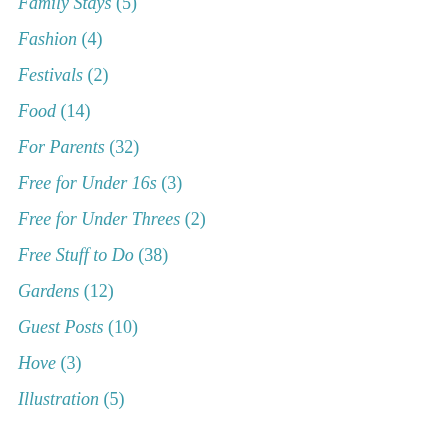Family Stays (5)
Fashion (4)
Festivals (2)
Food (14)
For Parents (32)
Free for Under 16s (3)
Free for Under Threes (2)
Free Stuff to Do (38)
Gardens (12)
Guest Posts (10)
Hove (3)
Illustration (5)